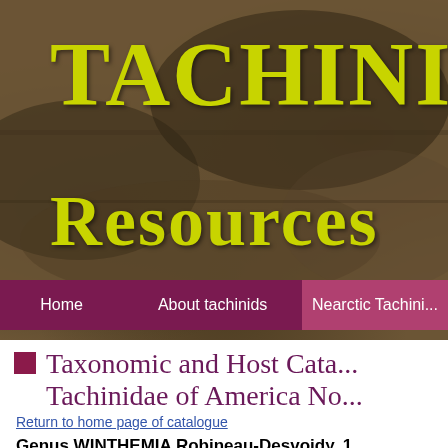[Figure (screenshot): Website header banner with dark rocky/stone background texture and yellow-green bold text reading 'TACHINIDA' and 'RESOURCES' in large serif font]
Home | About tachinids | Nearctic Tachini...
Taxonomic and Host Cata... Tachinidae of America No...
Return to home page of catalogue
Genus WINTHEMIA Robineau-Desvoidy, 1...
WINTHEMIA Robineau-Desvoidy, 1830: 173 (desc...